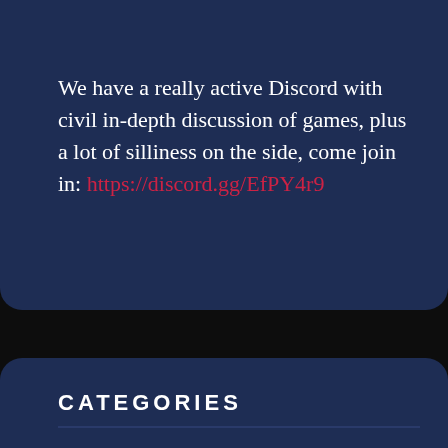We have a really active Discord with civil in-depth discussion of games, plus a lot of silliness on the side, come join in: https://discord.gg/EfPY4r9
CATEGORIES
Critic Critique
Depth
Design Ideas
Design Principles
Fighting Games
Game Commentary
Games Ontology